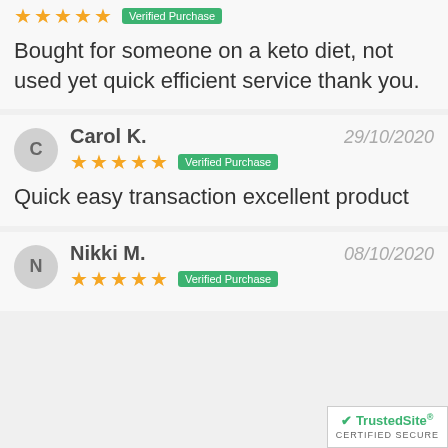Bought for someone on a keto diet, not used yet quick efficient service thank you.
Carol K. — 29/10/2020 — Verified Purchase
Quick easy transaction excellent product
Nikki M. — 08/10/2020 — Verified Purchase